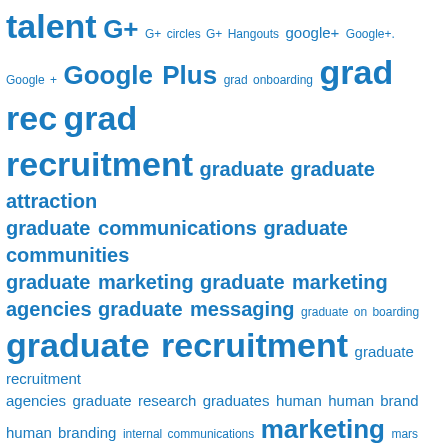[Figure (infographic): Tag cloud / word cloud with recruitment and HR-related terms in blue. Larger text indicates higher frequency terms. Terms include: talent, G+, G+ circles, G+ Hangouts, google+, Google+., Google +, Google Plus, grad onboarding, grad rec, grad recruitment, graduate, graduate attraction, graduate communications, graduate communities, graduate marketing, graduate marketing agencies, graduate messaging, graduate on boarding, graduate recruitment, graduate recruitment agencies, graduate research, graduates, human, human brand, human branding, internal communications, marketing, mars, mars tweet shop, mobile, personal, RAD Awards;, RADS;, RADS 2013;, RBI;, Recruitment Awards;, Employee Engagement;, Tonic;, Tonic Agency;, We are Tonic;, recruitment;, employer brand, recruitment, recruitment 5.0]